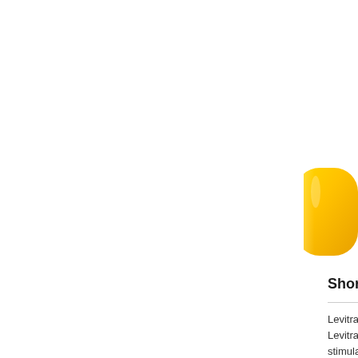[Figure (photo): Yellow/orange oval pill or tablet, partially cropped at the right edge of the page]
Short description
Levitra is a powerful and Levitra helps men ac stimulation. It relaxes blood flow to particu